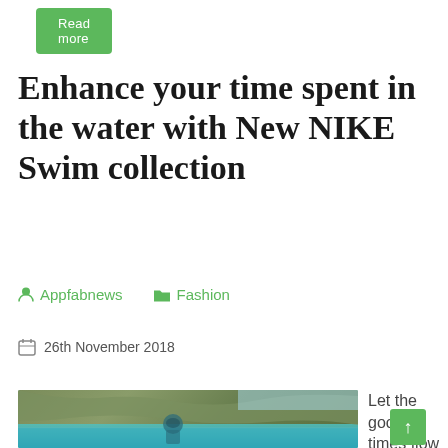Read more
Enhance your time spent in the water with New NIKE Swim collection
Appfabnews   Fashion
26th November 2018
[Figure (photo): Person snorkeling in turquoise water with rocky/forested cliff in background, split above/below water view]
Let the good times flow – Nike Swim